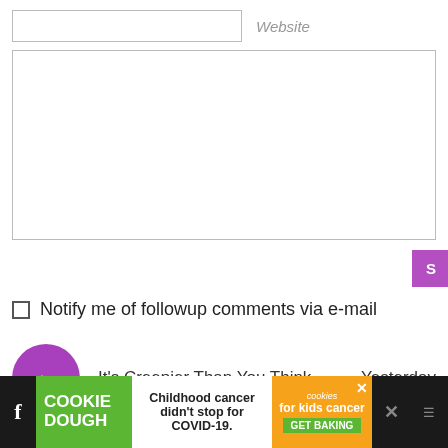Website
Notify me of followup comments via e-mail
It's Creepier Than You Think
Yesterday
[Figure (other): Cookie Dough advertisement banner: 'Childhood cancer didn't stop for COVID-19. GET BAKING' with cookies for kids cancer branding]